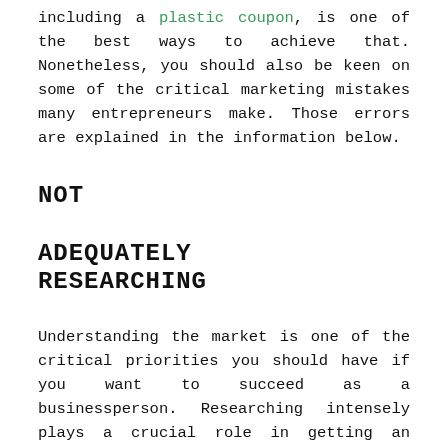including a plastic coupon, is one of the best ways to achieve that. Nonetheless, you should also be keen on some of the critical marketing mistakes many entrepreneurs make. Those errors are explained in the information below.
NOT ADEQUATELY RESEARCHING
Understanding the market is one of the critical priorities you should have if you want to succeed as a businessperson. Researching intensely plays a crucial role in getting an appropriate target audience, knowing what they want, and understanding what your competitors do differently.
NOT CAPTURING REPEAT